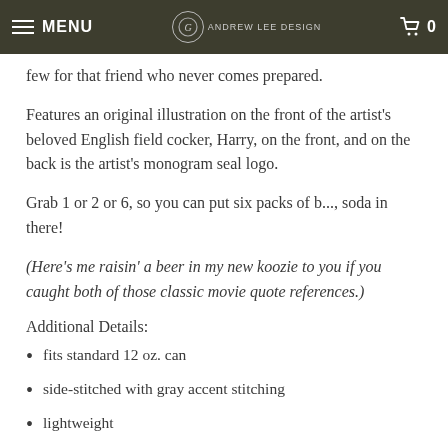MENU | ANDREW LEE DESIGN | 0
few for that friend who never comes prepared.
Features an original illustration on the front of the artist's beloved English field cocker, Harry, on the front, and on the back is the artist's monogram seal logo.
Grab 1 or 2 or 6, so you can put six packs of b..., soda in there!
(Here's me raisin' a beer in my new koozie to you if you caught both of those classic movie quote references.)
Additional Details:
fits standard 12 oz. can
side-stitched with gray accent stitching
lightweight